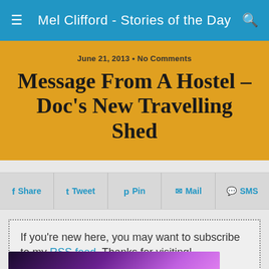Mel Clifford - Stories of the Day
June 21, 2013 • No Comments
Message From A Hostel – Doc's New Travelling Shed
Share | Tweet | Pin | Mail | SMS
If you're new here, you may want to subscribe to my RSS feed. Thanks for visiting!
[Figure (photo): Purple/magenta concert or stage lighting photo]